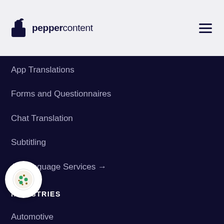peppercontent
App Translations
Forms and Questionnaires
Chat Translation
Subtitling
All Language Services →
INDUSTRIES
Automotive
Web Design & UX
Travel
Core Engineering
ual
Logistics